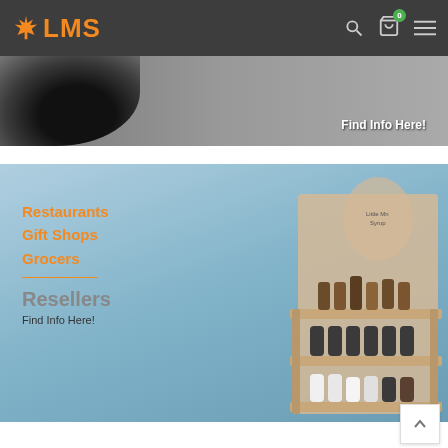LMS
[Figure (photo): Dark bowl/product on grey background with 'Find Info Here!' text overlay]
[Figure (photo): Blue background with wooden display shelf holding maple syrup bottles. Text overlay lists: Restaurants, Gift Shops, Grocers, Resellers, Find Info Here!]